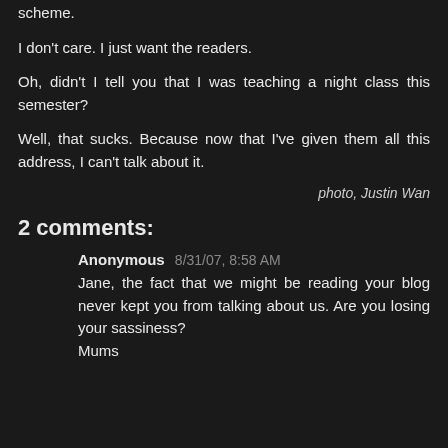scheme.
I don't care. I just want the readers.
Oh, didn't I tell you that I was teaching a night class this semester?
Well, that sucks. Because now that I've given them all this address, I can't talk about it.
photo, Justin Wan
2 comments:
Anonymous 8/31/07, 8:58 AM
Jane, the fact that we might be reading your blog never kept you from talking about us. Are you losing your sassiness?
Mums